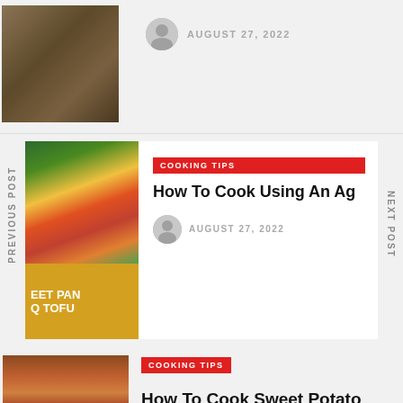[Figure (photo): Food image on burlap/wood background, top left]
AUGUST 27, 2022
[Figure (photo): Sheet pan BBQ tofu with colorful vegetables]
PREVIOUS POST
NEXT POST
COOKING TIPS
How To Cook Using An Ag
AUGUST 27, 2022
[Figure (photo): Slow Roasted Lamb with carrots]
COOKING TIPS
How To Cook Sweet Potato Fries